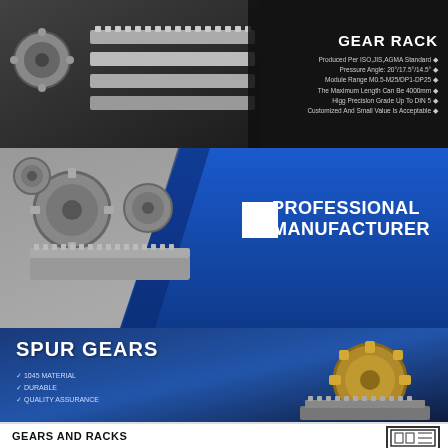[Figure (photo): Dark background showing metal gear racks and a small helical gear on the left side]
GEAR RACK
Produced Per ISO,JIS,AGMA Standard ◆
Pressure Angle: 20°/17.5°/14.5° ◆
Module Range M0.5-M25/DP1-DP25 ◆
The Maximum Length Can Be 4000mm ◆
Higg Precision Grade Up To DIN 5 ◆
Customized And Small Value Is Acceptable ◆
[Figure (photo): Middle section showing multiple spur gears and a worm gear rack on gray background with blue diagonal overlay]
PROFESSIONAL MANUFACTURER
[Figure (photo): Bottom blue section showing spur gears and a gear rack]
SPUR GEARS
1045 MATERIAL
DURABLE
QUALITY ASSURANCE
GEARS AND RACKS